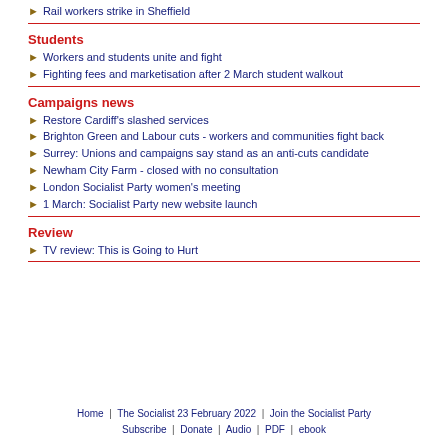Rail workers strike in Sheffield
Students
Workers and students unite and fight
Fighting fees and marketisation after 2 March student walkout
Campaigns news
Restore Cardiff's slashed services
Brighton Green and Labour cuts - workers and communities fight back
Surrey: Unions and campaigns say stand as an anti-cuts candidate
Newham City Farm - closed with no consultation
London Socialist Party women's meeting
1 March: Socialist Party new website launch
Review
TV review: This is Going to Hurt
Home | The Socialist 23 February 2022 | Join the Socialist Party Subscribe | Donate | Audio | PDF | ebook